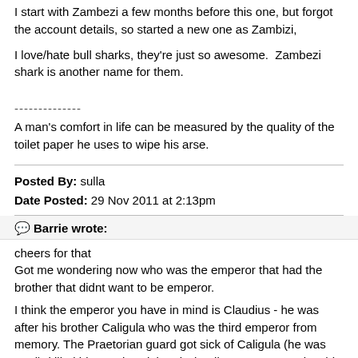I start with Zambezi a few months before this one, but forgot the account details, so started a new one as Zambizi,
I love/hate bull sharks, they're just so awesome.  Zambezi shark is another name for them.
--------------
A man's comfort in life can be measured by the quality of the toilet paper he uses to wipe his arse.
Posted By: sulla
Date Posted: 29 Nov 2011 at 2:13pm
Barrie wrote:
cheers for that
Got me wondering now who was the emperor that had the brother that didnt want to be emperor.
I think the emperor you have in mind is Claudius - he was after his brother Caligula who was the third emperor from memory. The Praetorian guard got sick of Caligula (he was mad), killed him, and acclaimed Claudius emperor against his wishes.